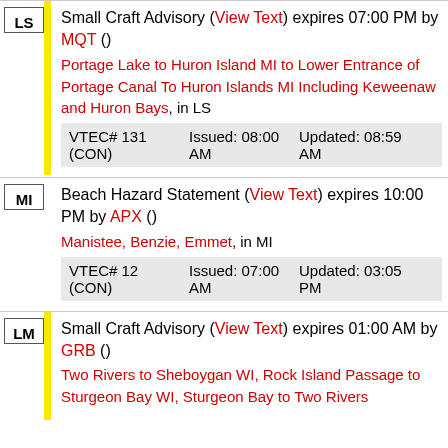LS | Small Craft Advisory (View Text) expires 07:00 PM by MQT () | Portage Lake to Huron Island MI to Lower Entrance of Portage Canal To Huron Islands MI Including Keweenaw and Huron Bays, in LS | VTEC# 131 (CON) | Issued: 08:00 AM | Updated: 08:59 AM
MI | Beach Hazard Statement (View Text) expires 10:00 PM by APX () | Manistee, Benzie, Emmet, in MI | VTEC# 12 (CON) | Issued: 07:00 AM | Updated: 03:05 PM
LM | Small Craft Advisory (View Text) expires 01:00 AM by GRB () | Two Rivers to Sheboygan WI, Rock Island Passage to Sturgeon Bay WI, Sturgeon Bay to Two Rivers